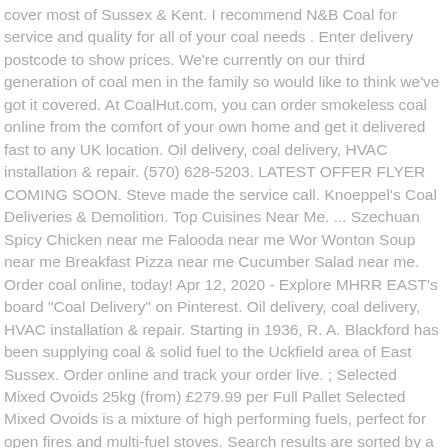cover most of Sussex & Kent. I recommend N&B Coal for service and quality for all of your coal needs . Enter delivery postcode to show prices. We're currently on our third generation of coal men in the family so would like to think we've got it covered. At CoalHut.com, you can order smokeless coal online from the comfort of your own home and get it delivered fast to any UK location. Oil delivery, coal delivery, HVAC installation & repair. (570) 628-5203. LATEST OFFER FLYER COMING SOON. Steve made the service call. Knoeppel's Coal Deliveries & Demolition. Top Cuisines Near Me. ... Szechuan Spicy Chicken near me Falooda near me Wor Wonton Soup near me Breakfast Pizza near me Cucumber Salad near me. Order coal online, today! Apr 12, 2020 - Explore MHRR EAST's board "Coal Delivery" on Pinterest. Oil delivery, coal delivery, HVAC installation & repair. Starting in 1936, R. A. Blackford has been supplying coal & solid fuel to the Uckfield area of East Sussex. Order online and track your order live. ; Selected Mixed Ovoids 25kg (from) £279.99 per Full Pallet Selected Mixed Ovoids is a mixture of high performing fuels, perfect for open fires and multi-fuel stoves. Search results are sorted by a combination of factors to give you a set of choices in response to your search criteria. Pennsylvania Anthracite Coal The All-American Energy Source: NEW ! The Dent